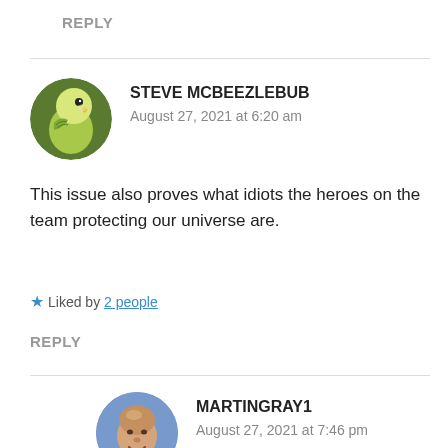REPLY
STEVE MCBEEZLEBUB
August 27, 2021 at 6:20 am
[Figure (illustration): Circular avatar showing a cartoon illustrated green parakeet/budgie bird with a yellow head]
This issue also proves what idiots the heroes on the team protecting our universe are.
★ Liked by 2 people
REPLY
MARTINGRAY1
August 27, 2021 at 7:46 pm
[Figure (photo): Circular avatar showing a photo of a bald middle-aged man smiling]